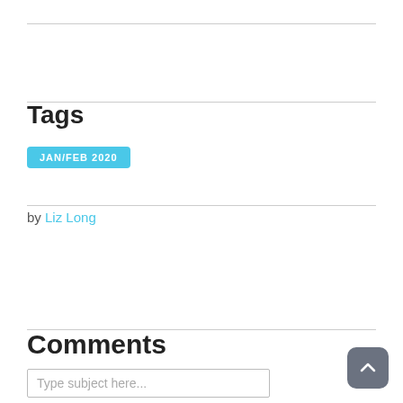Tags
JAN/FEB 2020
by Liz Long
Comments
Type subject here...